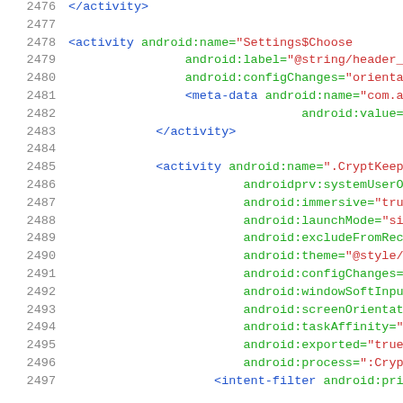[Figure (screenshot): Source code viewer showing XML Android manifest lines 2476-2497 with line numbers in gray on left, XML tags in blue/purple, attributes in green, and values in red/dark red.]